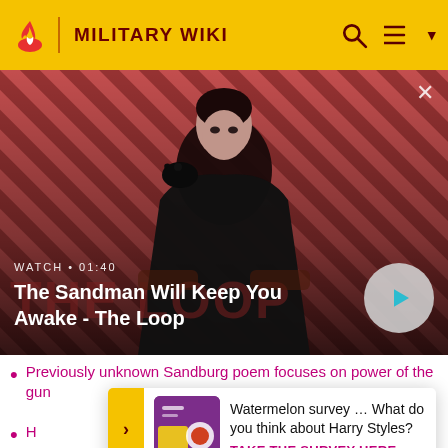MILITARY WIKI
[Figure (screenshot): Video thumbnail for 'The Sandman Will Keep You Awake - The Loop' showing a man in black with a raven on his shoulder against a pink/red striped background. Duration shown as 01:40 with a play button.]
Previously unknown Sandburg poem focuses on power of the gun
Watermelon survey … What do you think about Harry Styles?
TAKE THE SURVEY HERE
H...n's